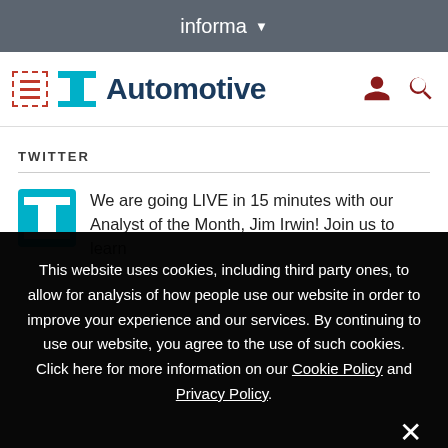informa
[Figure (logo): WardsAuto / TU Automotive logo with hamburger menu icon, brand T mark in red, Automotive text in dark blue, user and search icons on right]
TWITTER
We are going LIVE in 15 minutes with our Analyst of the Month, Jim Irwin! Join us to learn
This website uses cookies, including third party ones, to allow for analysis of how people use our website in order to improve your experience and our services. By continuing to use our website, you agree to the use of such cookies. Click here for more information on our Cookie Policy and Privacy Policy.